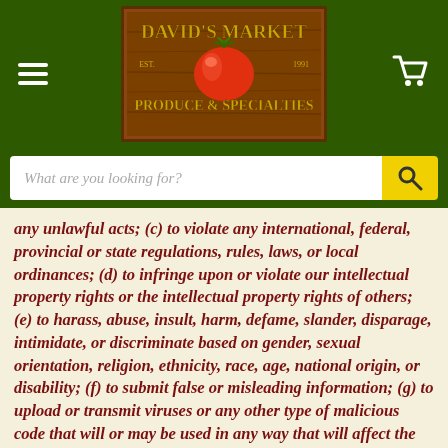[Figure (logo): David's Market Produce & Specialties logo with tomato graphic on wooden background]
What are you looking for?
any unlawful acts; (c) to violate any international, federal, provincial or state regulations, rules, laws, or local ordinances; (d) to infringe upon or violate our intellectual property rights or the intellectual property rights of others; (e) to harass, abuse, insult, harm, defame, slander, disparage, intimidate, or discriminate based on gender, sexual orientation, religion, ethnicity, race, age, national origin, or disability; (f) to submit false or misleading information; (g) to upload or transmit viruses or any other type of malicious code that will or may be used in any way that will affect the functionality or operation of the Service or of any related website, other websites, or the Internet; (h) to collect or track the personal information of others; (i)